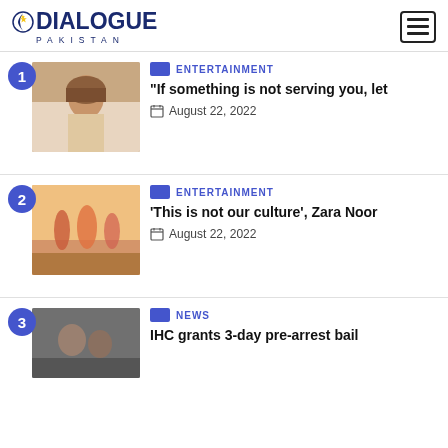DIALOGUE PAKISTAN
1. ENTERTAINMENT - "If something is not serving you, let - August 22, 2022
2. ENTERTAINMENT - 'This is not our culture', Zara Noor - August 22, 2022
3. NEWS - IHC grants 3-day pre-arrest bail